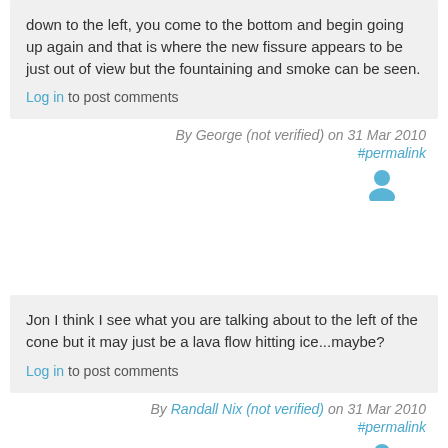down to the left, you come to the bottom and begin going up again and that is where the new fissure appears to be just out of view but the fountaining and smoke can be seen.
Log in to post comments
By George (not verified) on 31 Mar 2010
#permalink
[Figure (illustration): User avatar icon in blue]
Jon I think I see what you are talking about to the left of the cone but it may just be a lava flow hitting ice...maybe?
Log in to post comments
By Randall Nix (not verified) on 31 Mar 2010
#permalink
[Figure (illustration): User avatar icon in blue]